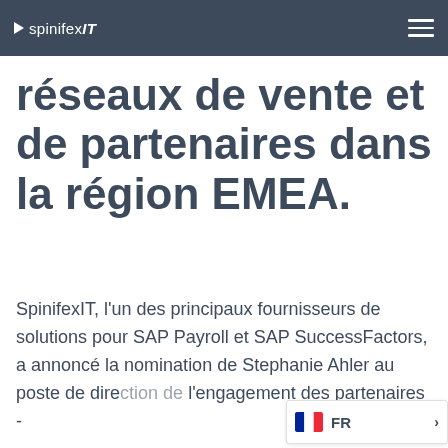spinifexIT
réseaux de vente et de partenaires dans la région EMEA.
SpinifexIT, l'un des principaux fournisseurs de solutions pour SAP Payroll et SAP SuccessFactors, a annoncé la nomination de Stephanie Ahler au poste de dire... l'engagement des partenaires -